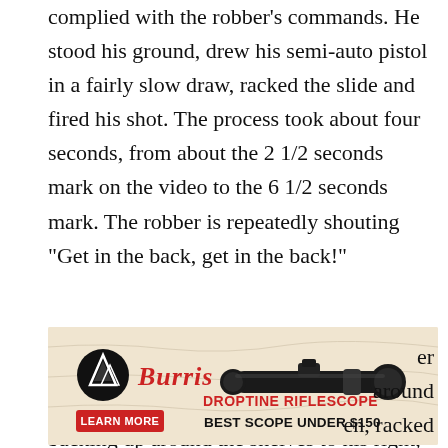complied with the robber's commands. He stood his ground, drew his semi-auto pistol in a fairly slow draw, racked the slide and fired his shot. The process took about four seconds, from about the 2 1/2 seconds mark on the video to the 6 1/2 seconds mark. The robber is repeatedly shouting “Get in the back, get in the back!”
The clerk could have faked compliance by backing up around the shelves to his right, thus
[Figure (illustration): Burris Droptine Riflescope advertisement. Shows a riflescope image, Burris logo (mountain symbol), red italic 'Burris' text, 'DROPTINE RIFLESCOPE' in red caps, 'LEARN MORE' red button, 'BEST SCOPE UNDER $150' text on a tan/parchment background.]
er around en, racked